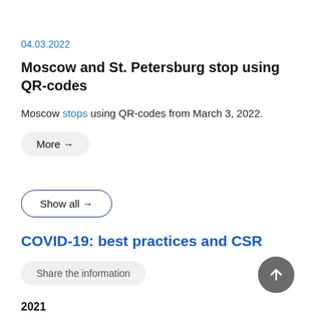04.03.2022
Moscow and St. Petersburg stop using QR-codes
Moscow stops using QR-codes from March 3, 2022.
More →
Show all →
COVID-19: best practices and CSR
Share the information
2021
March